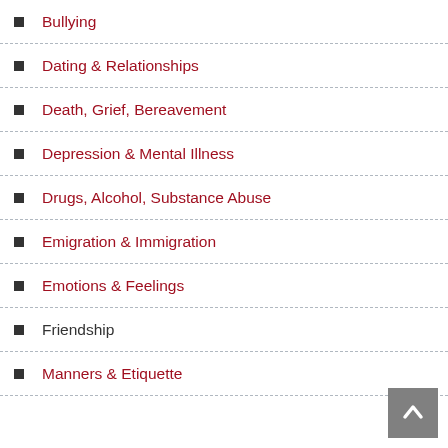Bullying
Dating & Relationships
Death, Grief, Bereavement
Depression & Mental Illness
Drugs, Alcohol, Substance Abuse
Emigration & Immigration
Emotions & Feelings
Friendship
Manners & Etiquette